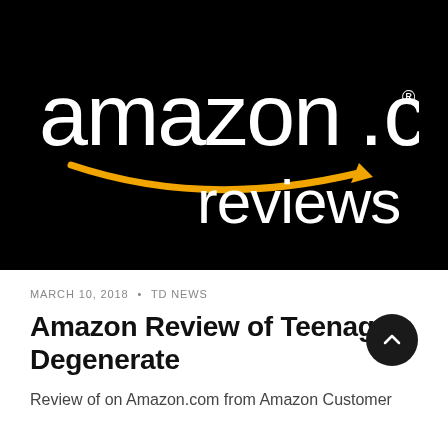[Figure (logo): Amazon.com reviews logo — white text on black background with the Amazon smile arrow in orange/gold]
MARCH 10, 2018 · TD NEWS
Amazon Review of Teenage Degenerate
Review of on Amazon.com from Amazon Customer